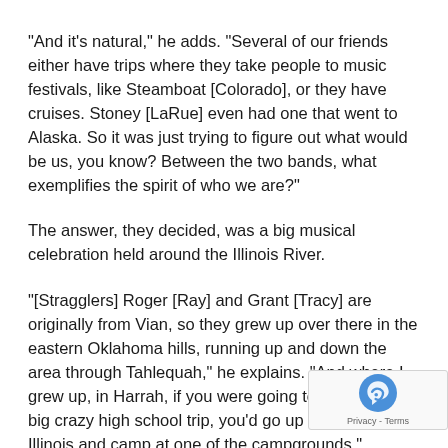“And it’s natural,” he adds. “Several of our friends either have trips where they take people to music festivals, like Steamboat [Colorado], or they have cruises. Stoney [LaRue] even had one that went to Alaska. So it was just trying to figure out what would be us, you know? Between the two bands, what exemplifies the spirit of who we are?”
The answer, they decided, was a big musical celebration held around the Illinois River.
“[Stragglers] Roger [Ray] and Grant [Tracy] are originally from Vian, so they grew up over there in the eastern Oklahoma hills, running up and down the area through Tahlequah,” he explains. “And where I grew up, in Harrah, if you were going to make some big crazy high school trip, you’d go up and float the Illinois and camp at one of the campgrounds.”
After they got older and formed Jason Boland and the Stragglers via that legendary rural Stillwater multiple-artist dwelling a… unofficial birthplace of Red Dirt music known as the Farm, Tahlequah became one of the band’s favorite stops. A few years